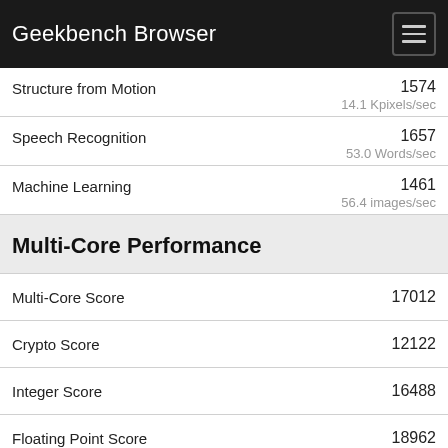Geekbench Browser
| Benchmark | Score | Unit |
| --- | --- | --- |
| Structure from Motion | 1574 | 14.1 Kpixels/sec |
| Speech Recognition | 1657 | 53.0 Words/sec |
| Machine Learning | 1461 | 56.4 images/sec |
Multi-Core Performance
| Benchmark | Score |
| --- | --- |
| Multi-Core Score | 17012 |
| Crypto Score | 12122 |
| Integer Score | 16488 |
| Floating Point Score | 18962 |
| AES-XTS | 12122 |